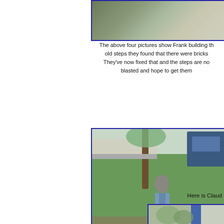[Figure (photo): Partial view of a construction or outdoor scene, cropped at top of page]
The above four pictures show Frank building th... old steps they found that there were bricks... They've now fixed that and the steps are no... blasted and hope to get them...
[Figure (photo): Outdoor photo of a man standing near a tree on a grass lawn, with a blue vehicle visible in background. Taken from an elevated angle.]
Here is Claud...
[Figure (photo): Partial view of a house exterior with foliage, blue door or window trim visible]